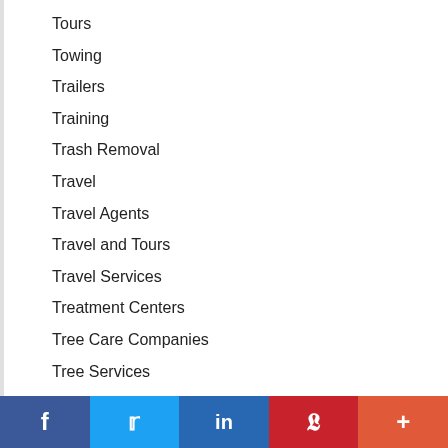Tours
Towing
Trailers
Training
Trash Removal
Travel
Travel Agents
Travel and Tours
Travel Services
Treatment Centers
Tree Care Companies
Tree Services
Tutoring
Upholstery
f  Twitter  in  Pinterest  +